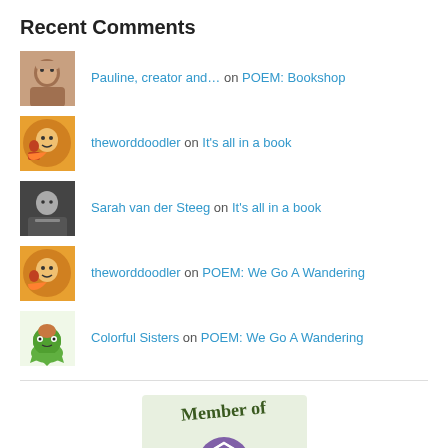Recent Comments
Pauline, creator and… on POEM: Bookshop
theworddoodler on It's all in a book
Sarah van der Steeg on It's all in a book
theworddoodler on POEM: We Go A Wandering
Colorful Sisters on POEM: We Go A Wandering
[Figure (logo): Member of [organization] badge with purple circular logo]